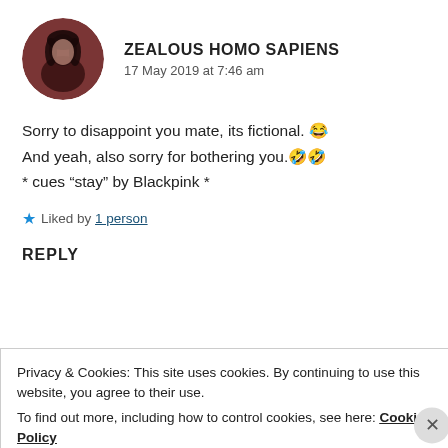[Figure (photo): Circular avatar photo of a person with dark hair against a reddish-brown background]
ZEALOUS HOMO SAPIENS
17 May 2019 at 7:46 am
Sorry to disappoint you mate, its fictional. 😂
And yeah, also sorry for bothering you.🤣🤣
* cues “stay” by Blackpink *
★ Liked by 1 person
REPLY
Privacy & Cookies: This site uses cookies. By continuing to use this website, you agree to their use.
To find out more, including how to control cookies, see here: Cookie Policy
Close and accept